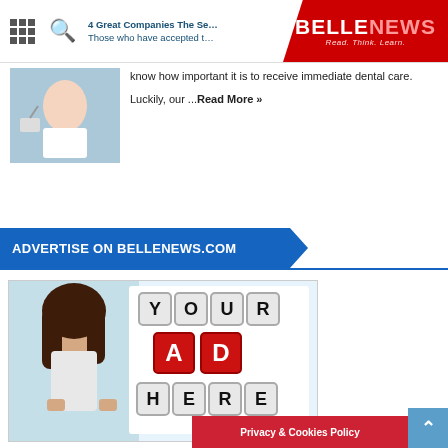BELLENEWS — Read. Think. Learn.
know how important it is to receive immediate dental care. Luckily, our ...Read More »
ADVERTISE ON BELLENEWS.COM
[Figure (illustration): Advertisement placeholder image showing a woman holding a sign with 'YOUR AD HERE' in dice-style letters]
Privacy & Cookies Policy